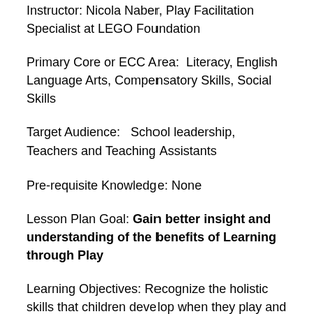Instructor: Nicola Naber, Play Facilitation Specialist at LEGO Foundation
Primary Core or ECC Area:  Literacy, English Language Arts, Compensatory Skills, Social Skills
Target Audience:   School leadership, Teachers and Teaching Assistants
Pre-requisite Knowledge: None
Lesson Plan Goal: Gain better insight and understanding of the benefits of Learning through Play
Learning Objectives: Recognize the holistic skills that children develop when they play and how those skills are critical to learning; Identify the 5 characteristics of playful learning; Joyful, Actively...